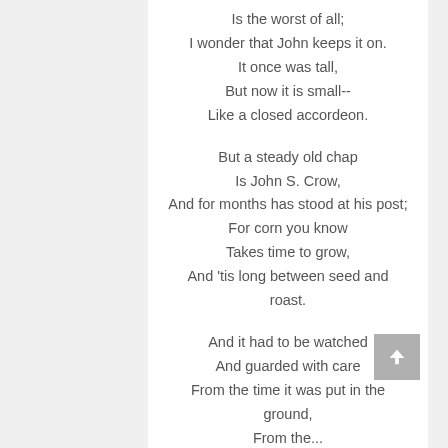Is the worst of all;
I wonder that John keeps it on.
It once was tall,
But now it is small--
Like a closed accordeon.

But a steady old chap
Is John S. Crow,
And for months has stood at his post;
For corn you know
Takes time to grow,
And 'tis long between seed and roast.

And it had to be watched
And guarded with care
From the time it was put in the ground,
From the...